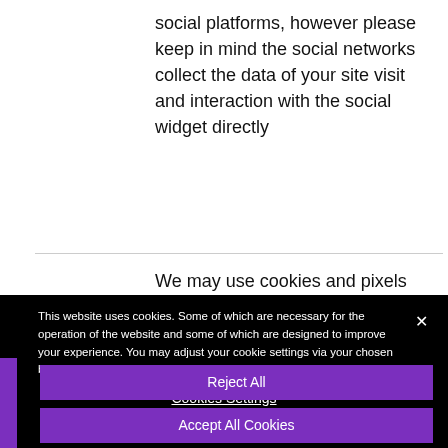social platforms, however please keep in mind the social networks collect the data of your site visit and interaction with the social widget directly
We may use cookies and pixels from
This website uses cookies. Some of which are necessary for the operation of the website and some of which are designed to improve your experience. You may adjust your cookie settings via your chosen browser tools. You can review the cookies, tags and pixels we use here
Cookies Settings
Reject All
Accept All Cookies